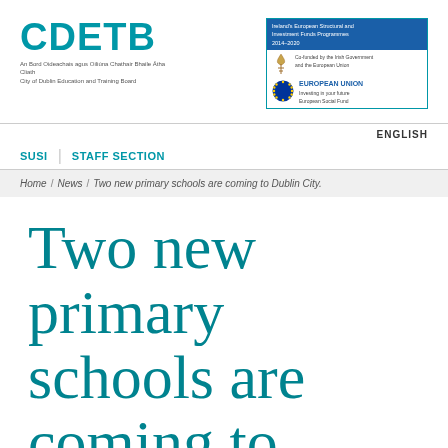[Figure (logo): CDETB logo with text 'An Bord Oideachais agus Oiliúna Chathair Bhaile Átha Cliath / City of Dublin Education and Training Board']
[Figure (logo): Ireland's European Structural and Investment Funds Programmes 2014-2020, European Union, European Social Fund logo box]
ENGLISH
SUSI | STAFF SECTION
Home / News / Two new primary schools are coming to Dublin City.
Two new primary schools are coming to